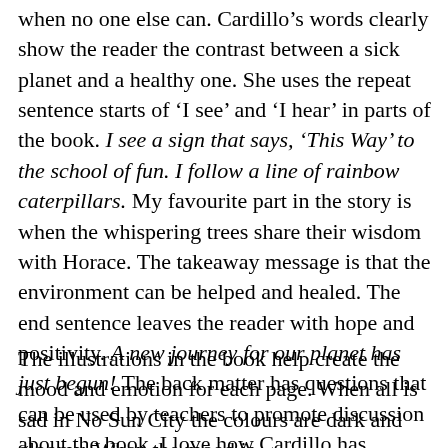when no one else can. Cardillo's words clearly show the reader the contrast between a sick planet and a healthy one. She uses the repeat sentence starts of 'I see' and 'I hear' in parts of the book. I see a sign that says, 'This Way' to the school of fun. I follow a line of rainbow caterpillars. My favourite part in the story is when the whispering trees share their wisdom with Horace. The takeaway message is that the environment can be helped and healed. The end sentence leaves the reader with hope and positivity. A new journey for our planet has just begun! The back matter has questions that can be used by teachers to promote discussion about the book. I love how Cardillo has created a small hero, Horace, who champions hope for the environment.
The illustrations in the book help create the mood and emotion for each page. When all is sad in No Sun City the colours are dark and gloomy. When the mood is upbeat the colours are bright and breezy. The overall tone of